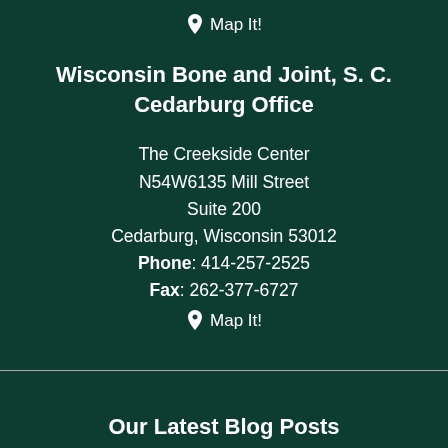Map It!
Wisconsin Bone and Joint, S. C.
Cedarburg Office
The Creekside Center
N54W6135 Mill Street
Suite 200
Cedarburg, Wisconsin 53012
Phone: 414-257-2525
Fax: 262-377-6727
Map It!
Our Latest Blog Posts